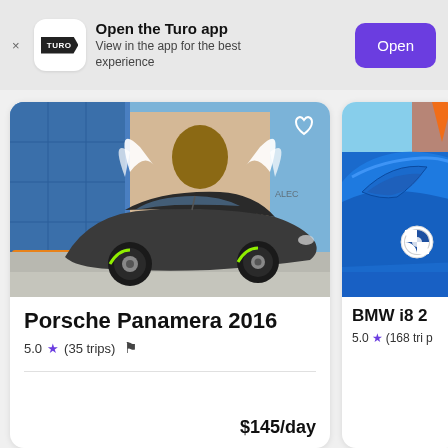Open the Turo app — View in the app for the best experience
[Figure (photo): Porsche Panamera 2016 parked in front of a colorful mural with graffiti and angel wings art]
Porsche Panamera 2016
5.0 ★ (35 trips) 🔱
$145/day
[Figure (photo): BMW i8 blue sports car with door open, partial view]
BMW i8 2…
5.0 ★ (168 trips